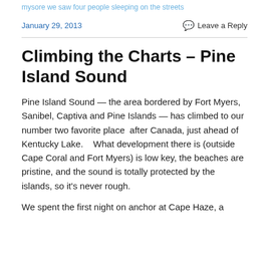mysore we saw four people sleeping on the streets
January 29, 2013
Leave a Reply
Climbing the Charts – Pine Island Sound
Pine Island Sound — the area bordered by Fort Myers, Sanibel, Captiva and Pine Islands — has climbed to our number two favorite place  after Canada, just ahead of Kentucky Lake.   What development there is (outside Cape Coral and Fort Myers) is low key, the beaches are pristine, and the sound is totally protected by the islands, so it's never rough.
We spent the first night on anchor at Cape Haze, a